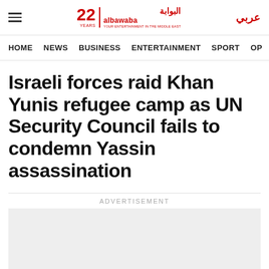albawaba — 22 YEARS | عربي
HOME   NEWS   BUSINESS   ENTERTAINMENT   SPORT   OP
Israeli forces raid Khan Yunis refugee camp as UN Security Council fails to condemn Yassin assassination
ADVERTISEMENT